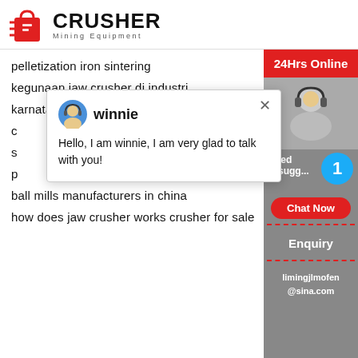[Figure (logo): Crusher Mining Equipment logo with red shopping bag icon and bold CRUSHER text]
pelletization iron sintering
kegunaan jaw crusher di industri
karnataka crusher safe zone issue Search
c
s
p
ball mills manufacturers in china
how does jaw crusher works crusher for sale
[Figure (screenshot): Chat popup with avatar of winnie and message: Hello, I am winnie, I am very glad to talk with you!]
[Figure (infographic): Right sidebar with 24Hrs Online red banner, headset image, Need & suggestions box with blue badge showing 1, Chat Now red button, dashed line, Enquiry button, limingjlmofen@sina.com email]